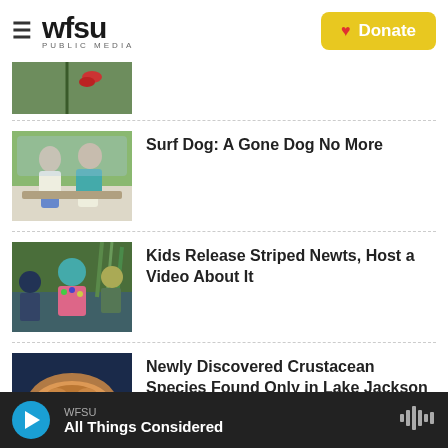[Figure (logo): WFSU Public Media logo with hamburger menu icon]
[Figure (other): Yellow Donate button with red heart icon]
[Figure (photo): Partial image of plant/nature scene at top (cut off)]
Surf Dog: A Gone Dog No More
Kids Release Striped Newts, Host a Video About It
Newly Discovered Crustacean Species Found Only in Lake Jackson
WFSU All Things Considered